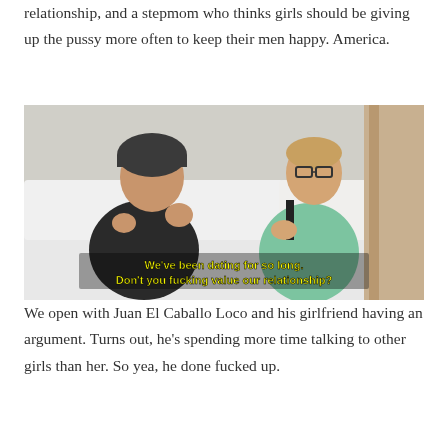relationship, and a stepmom who thinks girls should be giving up the pussy more often to keep their men happy. America.
[Figure (screenshot): Video still showing two people sitting on a white couch having a conversation. A man in a dark beanie and black shirt faces a woman wearing glasses and a green tank top. Subtitle text reads: We've been dating for so long. Don't you fucking value our relationship?]
We open with Juan El Caballo Loco and his girlfriend having an argument. Turns out, he's spending more time talking to other girls than her. So yea, he done fucked up.